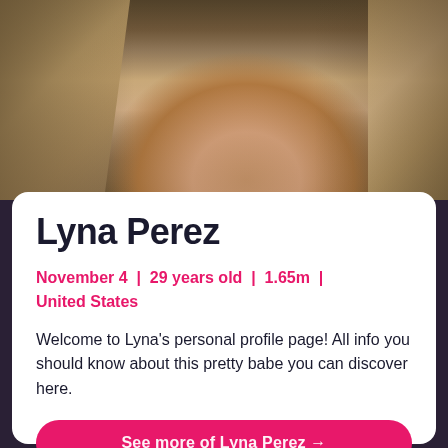[Figure (photo): Photo of Lyna Perez from behind on stone stairs, wearing light blue swimwear]
Lyna Perez
November 4 | 29 years old | 1.65m | United States
Welcome to Lyna's personal profile page! All info you should know about this pretty babe you can discover here.
See more of Lyna Perez →